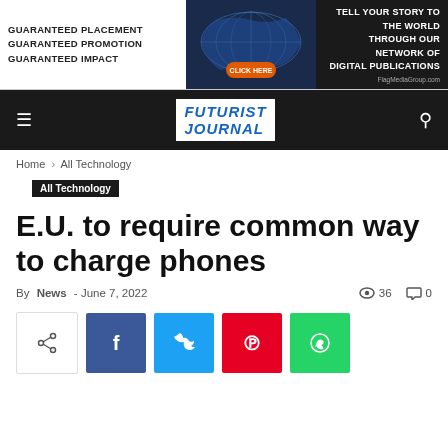[Figure (other): Advertisement banner: left white section with text 'Guaranteed Placement Guaranteed Promotion Guaranteed Impact', middle section with dark blue world map graphic and orange 'Click Here' button, right dark section with text 'Tell Your Story to the World Through Our Network of Digital Publications' and FlagMediaGroup.com]
Futurist Journal navigation bar with hamburger menu, logo, and search icon
Home › All Technology
All Technology
E.U. to require common way to charge phones
By News - June 7, 2022   36   0
[Figure (other): Social share buttons row: share icon button (default), Facebook (blue), Twitter (cyan), Pinterest (red), WhatsApp (green)]